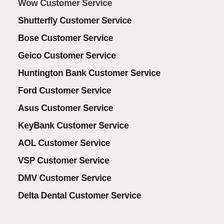Wow Customer Service
Shutterfly Customer Service
Bose Customer Service
Geico Customer Service
Huntington Bank Customer Service
Ford Customer Service
Asus Customer Service
KeyBank Customer Service
AOL Customer Service
VSP Customer Service
DMV Customer Service
Delta Dental Customer Service